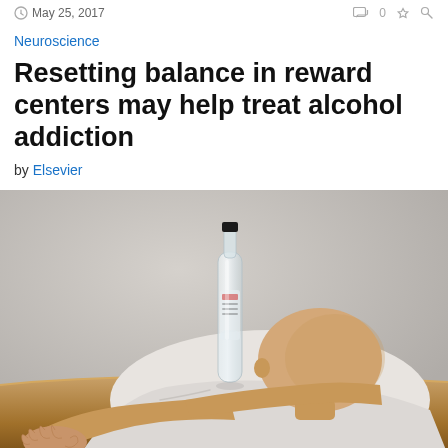May 25, 2017
Neuroscience
Resetting balance in reward centers may help treat alcohol addiction
by Elsevier
[Figure (photo): A bald man slumped over a wooden table with his head resting on his arms, a clear glass bottle of alcohol standing on the table next to him. He is wearing a white shirt. The background is a plain light gray wall.]